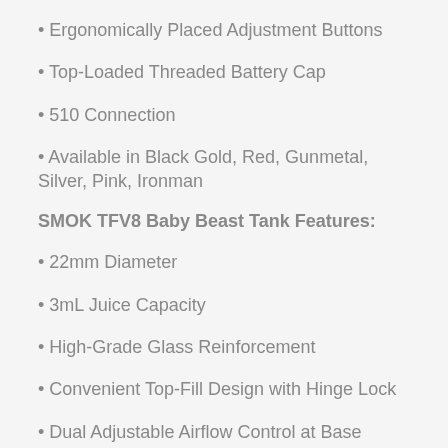• Ergonomically Placed Adjustment Buttons
• Top-Loaded Threaded Battery Cap
• 510 Connection
• Available in Black Gold, Red, Gunmetal, Silver, Pink, Ironman
SMOK TFV8 Baby Beast Tank Features:
• 22mm Diameter
• 3mL Juice Capacity
• High-Grade Glass Reinforcement
• Convenient Top-Fill Design with Hinge Lock
• Dual Adjustable Airflow Control at Base